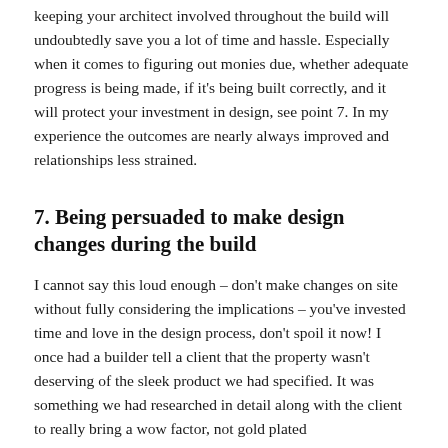keeping your architect involved throughout the build will undoubtedly save you a lot of time and hassle. Especially when it comes to figuring out monies due, whether adequate progress is being made, if it's being built correctly, and it will protect your investment in design, see point 7. In my experience the outcomes are nearly always improved and relationships less strained.
7. Being persuaded to make design changes during the build
I cannot say this loud enough – don't make changes on site without fully considering the implications – you've invested time and love in the design process, don't spoil it now! I once had a builder tell a client that the property wasn't deserving of the sleek product we had specified. It was something we had researched in detail along with the client to really bring a wow factor, not gold plated